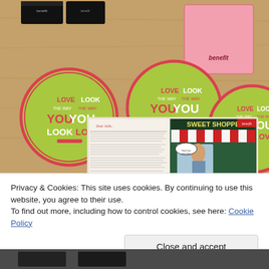[Figure (photo): A wooden table with green circular coasters/buttons featuring 'LOVE THE WAY YOU LOOK / LOOK THE WAY YOU LOVE' text in pink and white (Benefit Cosmetics branding), black product boxes, a pink card with Benefit logo, and an open booklet showing 'Sweet Shoppe' cosmetics catalog illustration with a vintage-style woman near a sweet shop storefront.]
Privacy & Cookies: This site uses cookies. By continuing to use this website, you agree to their use.
To find out more, including how to control cookies, see here: Cookie Policy
[Figure (photo): Bottom strip of a photo showing dark objects on a surface (partially visible).]